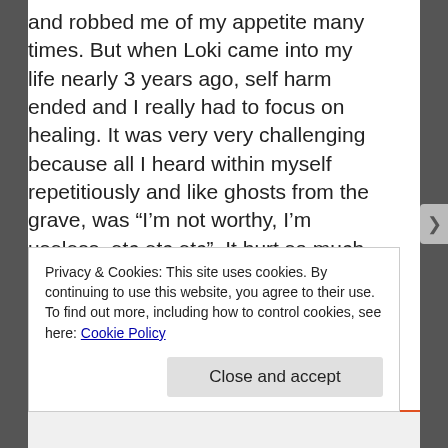and robbed me of my appetite many times. But when Loki came into my life nearly 3 years ago, self harm ended and I really had to focus on healing. It was very very challenging because all I heard within myself repetitiously and like ghosts from the grave, was “I’m not worthy, I’m useless, etc etc etc”. It hurt so much to hear those inner voices and still is. It scared me to face these broken numbed, traumatized, near lifeless parts of myself..those that were raped emotionally and physically. But I need to.. for the love
Privacy & Cookies: This site uses cookies. By continuing to use this website, you agree to their use.
To find out more, including how to control cookies, see here: Cookie Policy
Close and accept